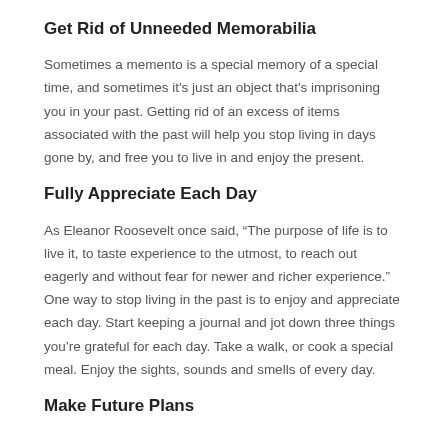Get Rid of Unneeded Memorabilia
Sometimes a memento is a special memory of a special time, and sometimes it's just an object that's imprisoning you in your past. Getting rid of an excess of items associated with the past will help you stop living in days gone by, and free you to live in and enjoy the present.
Fully Appreciate Each Day
As Eleanor Roosevelt once said, “The purpose of life is to live it, to taste experience to the utmost, to reach out eagerly and without fear for newer and richer experience.” One way to stop living in the past is to enjoy and appreciate each day. Start keeping a journal and jot down three things you’re grateful for each day. Take a walk, or cook a special meal. Enjoy the sights, sounds and smells of every day.
Make Future Plans